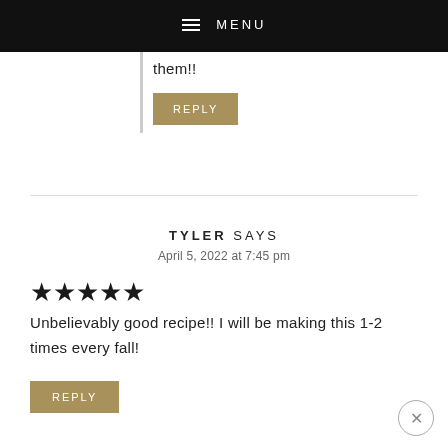MENU
them!!
REPLY
TYLER SAYS
April 5, 2022 at 7:45 pm
★★★★★
Unbelievably good recipe!! I will be making this 1-2 times every fall!
REPLY